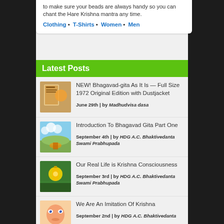to make sure your beads are always handy so you can chant the Hare Krishna mantra any time.
Clothing • T-Shirts • Women • Men
Latest Posts
NEW! Bhagavad-gita As It Is — Full Size 1972 Original Edition with Dustjacket
June 29th | by Madhudvisa dasa
Introduction To Bhagavad Gita Part One
September 4th | by HDG A.C. Bhaktivedanta Swami Prabhupada
Our Real Life is Krishna Consciousness
September 3rd | by HDG A.C. Bhaktivedanta Swami Prabhupada
We Are An Imitation Of Krishna
September 2nd | by HDG A.C. Bhaktivedanta